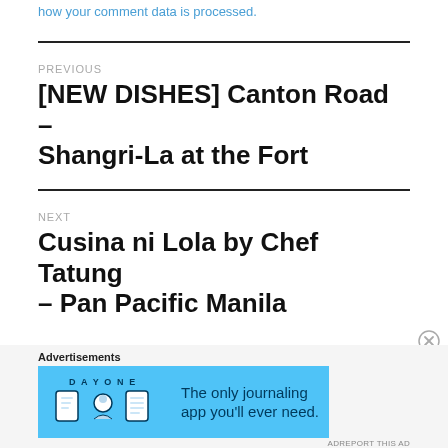how your comment data is processed.
PREVIOUS
[NEW DISHES] Canton Road – Shangri-La at the Fort
NEXT
Cusina ni Lola by Chef Tatung – Pan Pacific Manila
Advertisements
[Figure (infographic): Day One journaling app advertisement banner with blue background, app icons, and text 'The only journaling app you'll ever need.']